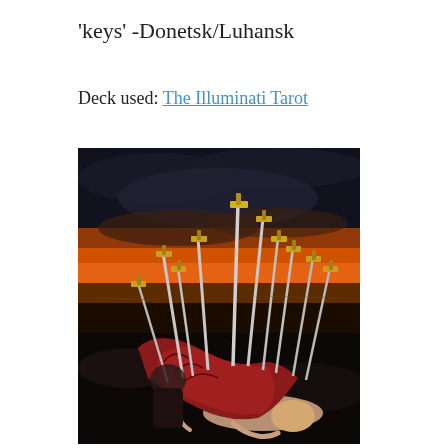'keys' -Donetsk/Luhansk
Deck used: The Illuminati Tarot
[Figure (photo): Tarot card image from The Illuminati Tarot showing the Ten of Swords: a figure lying prostrate on the ground with ten swords plunged into their back, against a dramatic dark sky with orange-red sunset over water.]